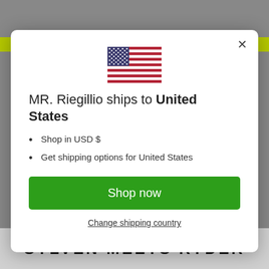[Figure (screenshot): Website screenshot background with olive/yellow-green header bar and gray background, showing a dark product photo partially visible]
[Figure (illustration): US flag emoji/icon centered in modal]
MR. Riegillio ships to United States
Shop in USD $
Get shipping options for United States
Shop now
Change shipping country
SYLVEN MEETS RYDER